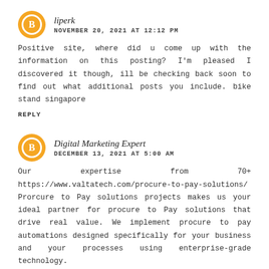liperk
NOVEMBER 20, 2021 AT 12:12 PM
Positive site, where did u come up with the information on this posting? I'm pleased I discovered it though, ill be checking back soon to find out what additional posts you include. bike stand singapore
REPLY
Digital Marketing Expert
DECEMBER 13, 2021 AT 5:00 AM
Our expertise from 70+ https://www.valtatech.com/procure-to-pay-solutions/ Prorcure to Pay solutions projects makes us your ideal partner for procure to Pay solutions that drive real value. We implement procure to pay automations designed specifically for your business and your processes using enterprise-grade technology.
REPLY